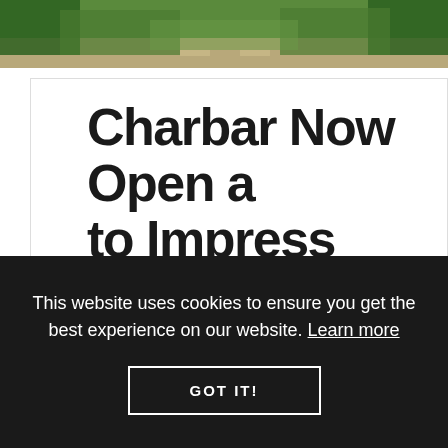[Figure (photo): Scenic road or highway photo with green trees and vegetation, partial view at top of page]
Charbar Now Open a... to Impress
POSTED BY Justin Havre ON AUGUST 28TH, 2015
This website uses cookies to ensure you get the best experience on our website. Learn more
GOT IT!